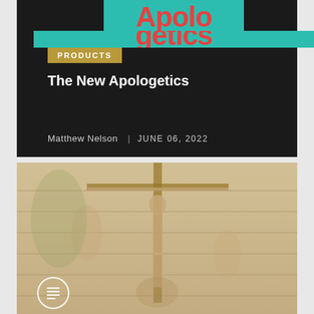[Figure (logo): Apologetics logo with teal background and red bold text reading 'Apologetics', partially cropped at top]
PRODUCTS
The New Apologetics
Matthew Nelson | JUNE 06, 2022
[Figure (illustration): Classical engraving or woodcut illustration of the Crucifixion of Jesus Christ, with figures at the foot of the cross, rendered in sepia/beige tones. A circular icon with a document/list symbol is overlaid at the bottom left.]